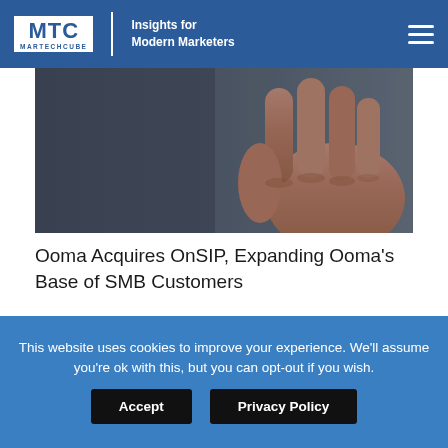MTC MARTECHCUBE | Insights for Modern Marketers
[Figure (photo): Close-up photo of a hand against a dark blurred background, partial view showing fingers]
Ooma Acquires OnSIP, Expanding Ooma’s Base of SMB Customers
[Figure (logo): MTC MarTechCube logo partial in dark footer area]
This website uses cookies to improve your experience. We’ll assume you’re ok with this, but you can opt-out if you wish.
Accept | Privacy Policy